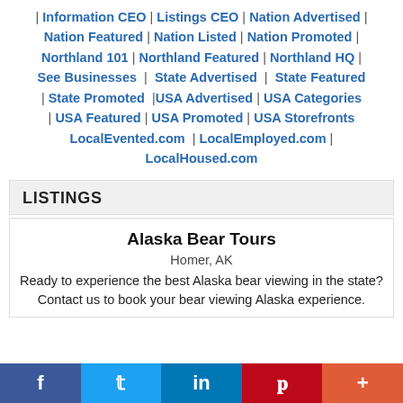| Information CEO | Listings CEO | Nation Advertised | Nation Featured | Nation Listed | Nation Promoted | Northland 101 | Northland Featured | Northland HQ | See Businesses | State Advertised | State Featured | State Promoted |USA Advertised | USA Categories | USA Featured | USA Promoted | USA Storefronts LocalEvented.com | LocalEmployed.com | LocalHoused.com
LISTINGS
Alaska Bear Tours
Homer, AK
Ready to experience the best Alaska bear viewing in the state? Contact us to book your bear viewing Alaska experience.
f  |  in  |  p  |  +